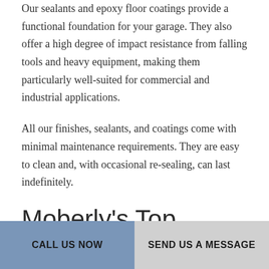Our sealants and epoxy floor coatings provide a functional foundation for your garage. They also offer a high degree of impact resistance from falling tools and heavy equipment, making them particularly well-suited for commercial and industrial applications.
All our finishes, sealants, and coatings come with minimal maintenance requirements. They are easy to clean and, with occasional re-sealing, can last indefinitely.
Moberly's Top Garage Concrete Contractor
Contact Us Today
CALL US NOW | SEND US A MESSAGE